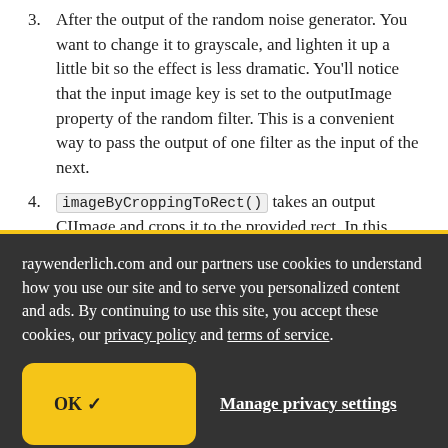3. After the output of the random noise generator. You want to change it to grayscale, and lighten it up a little bit so the effect is less dramatic. You'll notice that the input image key is set to the outputImage property of the random filter. This is a convenient way to pass the output of one filter as the input of the next.
4. imageByCroppingToRect() takes an output CIImage and crops it to the provided rect. In this
raywenderlich.com and our partners use cookies to understand how you use our site and to serve you personalized content and ads. By continuing to use this site, you accept these cookies, our privacy policy and terms of service.